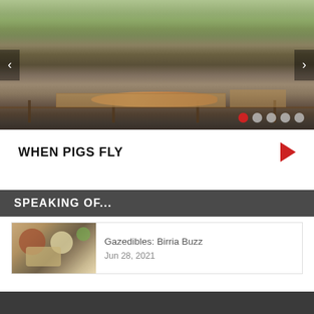[Figure (photo): Outdoor festival scene with people preparing a whole roasted pig on a wooden table. People in cowboy hat and casual clothes standing around the table in a grassy field with trees in background. Slideshow navigation arrows on left and right, five dots indicator at bottom right (first dot red/active).]
WHEN PIGS FLY
SPEAKING OF...
[Figure (photo): Food photo showing bowls of ingredients including limes and toppings, associated with Birria dish.]
Gazedibles: Birria Buzz
Jun 28, 2021